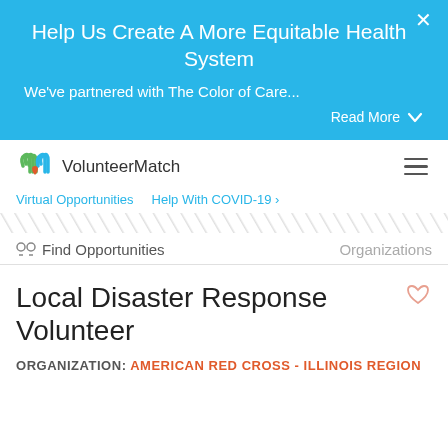Help Us Create A More Equitable Health System
We've partnered with The Color of Care...
Read More
VolunteerMatch
Virtual Opportunities   Help With COVID-19 ›
🔭 Find Opportunities    Organizations
Local Disaster Response Volunteer
ORGANIZATION: AMERICAN RED CROSS - ILLINOIS REGION